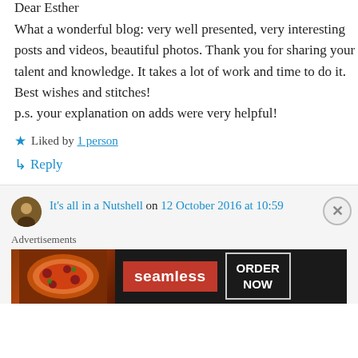Dear Esther
What a wonderful blog: very well presented, very interesting posts and videos, beautiful photos. Thank you for sharing your talent and knowledge. It takes a lot of work and time to do it.
Best wishes and stitches!
p.s. your explanation on adds were very helpful!
★ Liked by 1 person
↳ Reply
It's all in a Nutshell on 12 October 2016 at 10:59
Advertisements